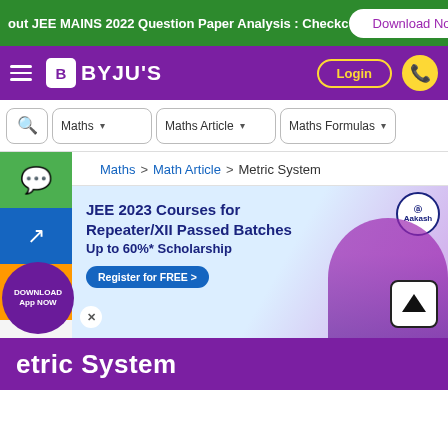out JEE MAINS 2022 Question Paper Analysis : Checkc
[Figure (screenshot): Download Now button and close X on green banner]
[Figure (logo): BYJU'S logo with hamburger menu, Login button, and phone icon on purple nav bar]
[Figure (screenshot): Search bar row with Maths, Maths Article, Maths Formulas dropdowns]
Maths > Math Article > Metric System
[Figure (photo): Aakash advertisement: JEE 2023 Courses for Repeater/XII Passed Batches Up to 60%* Scholarship, Register for FREE button, with student image]
Metric System